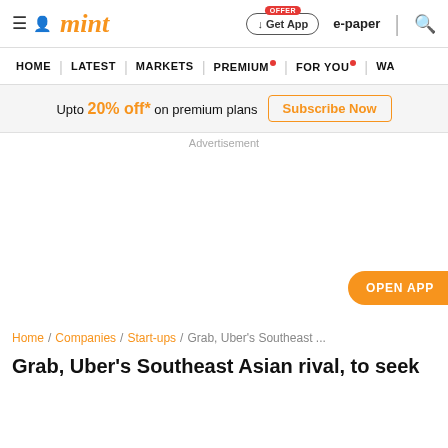mint
HOME | LATEST | MARKETS | PREMIUM | FOR YOU | WA...
Upto 20% off* on premium plans  Subscribe Now
Advertisement
OPEN APP
Home / Companies / Start-ups / Grab, Uber's Southeast ...
Grab, Uber's Southeast Asian rival, to seek